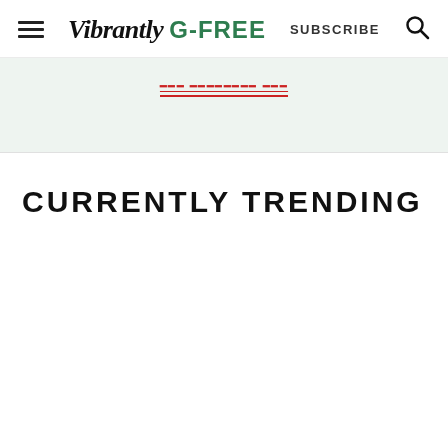Vibrantly G-FREE  SUBSCRIBE
[Figure (screenshot): Banner advertisement area with light green background, partially visible red underlined link text]
CURRENTLY TRENDING